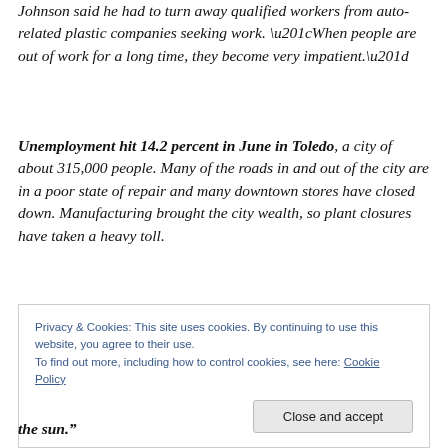Johnson said he had to turn away qualified workers from auto-related plastic companies seeking work. “When people are out of work for a long time, they become very impatient.”
Unemployment hit 14.2 percent in June in Toledo, a city of about 315,000 people. Many of the roads in and out of the city are in a poor state of repair and many downtown stores have closed down. Manufacturing brought the city wealth, so plant closures have taken a heavy toll.
Privacy & Cookies: This site uses cookies. By continuing to use this website, you agree to their use.
To find out more, including how to control cookies, see here: Cookie Policy
Close and accept
the sun.”